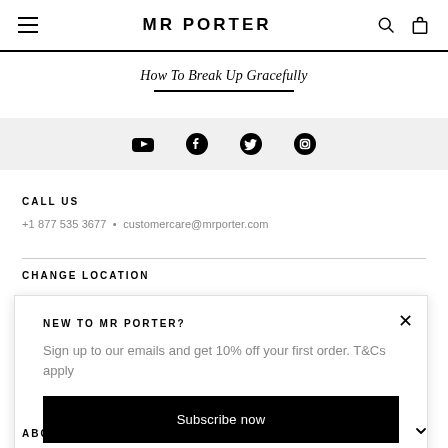MR PORTER
How To Break Up Gracefully
[Figure (other): Social media icons: YouTube, Facebook, Twitter, Instagram]
CALL US
+1 877 535 3677 • customercare@mrporter.com
CHANGE LOCATION
NEW TO MR PORTER?
Sign up to our emails and get 10% off your first order. T&Cs apply
Subscribe now
ABOUT US